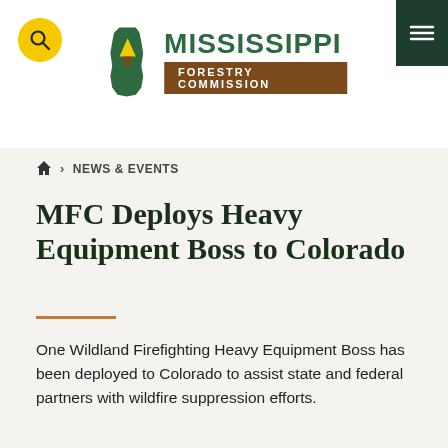[Figure (logo): Mississippi Forestry Commission logo with green state silhouette and tree icon, green MISSISSIPPI text, brown FORESTRY COMMISSION badge]
NEWS & EVENTS
MFC Deploys Heavy Equipment Boss to Colorado
One Wildland Firefighting Heavy Equipment Boss has been deployed to Colorado to assist state and federal partners with wildfire suppression efforts.